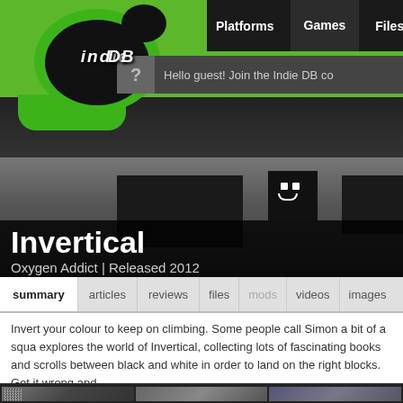[Figure (screenshot): IndieDB website header with green logo, navigation bar with Platforms, Games, Files, Me tabs, and guest login bar]
[Figure (screenshot): Game hero banner showing dark platformer game scene with block character having white eyes and smile, dark platforms on grey background]
Invertical
Oxygen Addict | Released 2012
summary  articles  reviews  files  mods  videos  images
Invert your colour to keep on climbing. Some people call Simon a bit of a squa... explores the world of Invertical, collecting lots of fascinating books and scrolls... between black and white in order to land on the right blocks. Get it wrong and...
[Figure (screenshot): Three thumbnail screenshots from the game Invertical showing pixel art gameplay]